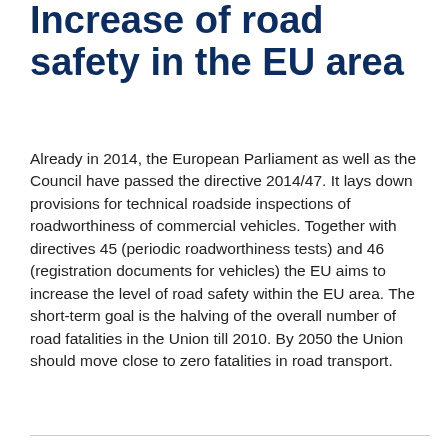Increase of road safety in the EU area
Already in 2014, the European Parliament as well as the Council have passed the directive 2014/47. It lays down provisions for technical roadside inspections of roadworthiness of commercial vehicles. Together with directives 45 (periodic roadworthiness tests) and 46 (registration documents for vehicles) the EU aims to increase the level of road safety within the EU area. The short-term goal is the halving of the overall number of road fatalities in the Union till 2010. By 2050 the Union should move close to zero fatalities in road transport.